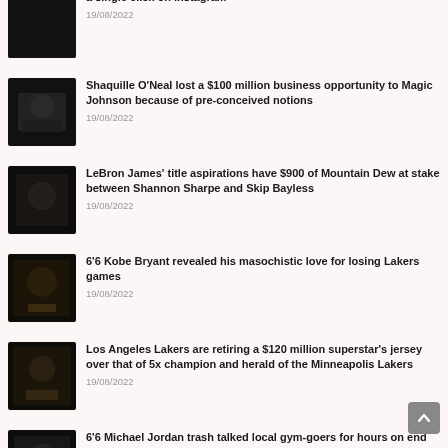a single click on Instagram — 19/08/2022
[Figure (photo): Dark blurred thumbnail image for article 1]
Shaquille O'Neal lost a $100 million business opportunity to Magic Johnson because of pre-conceived notions — 19/08/2022
[Figure (photo): Dark blurred thumbnail image for Shaquille O'Neal article]
LeBron James' title aspirations have $900 of Mountain Dew at stake between Shannon Sharpe and Skip Bayless — 19/08/2022
[Figure (photo): Dark blurred thumbnail image for LeBron James article]
6'6 Kobe Bryant revealed his masochistic love for losing Lakers games — 19/08/2022
[Figure (photo): Dark blurred thumbnail image for Kobe Bryant article]
Los Angeles Lakers are retiring a $120 million superstar's jersey over that of 5x champion and herald of the Minneapolis Lakers — 19/08/2022
[Figure (photo): Dark blurred thumbnail image for Lakers jersey article]
6'6 Michael Jordan trash talked local gym-goers for hours on end after his 1st retirement
[Figure (photo): Dark blurred thumbnail image for Michael Jordan article]